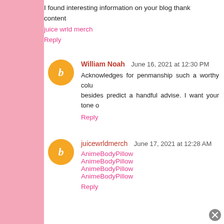I found interesting information on your blog thank content
juice wrld merch
Reply
William Noah  June 16, 2021 at 12:30 PM
Acknowledges for penmanship such a worthy colu besides predict a handful advise. I want your tone o
Reply
juicewrldmerch  June 17, 2021 at 12:28 AM
AnimeBodyPillow
AnimeBodyPillow
AnimeBodyPillow
AnimeBodyPillow
Reply